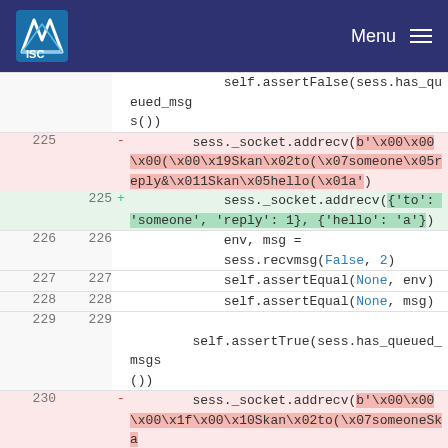ISC | Menu
[Figure (screenshot): Code diff view showing changes to sess._socket.addrecv() call, replacing binary byte string with dictionary arguments. Lines 225-230 shown with added/removed markers.]